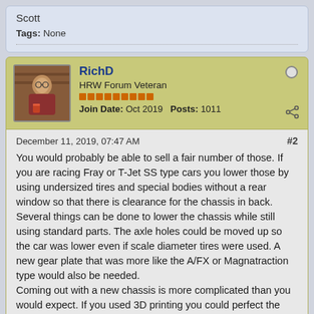Scott
Tags: None
RichD
HRW Forum Veteran
Join Date: Oct 2019   Posts: 1011
December 11, 2019, 07:47 AM
#2
You would probably be able to sell a fair number of those. If you are racing Fray or T-Jet SS type cars you lower those by using undersized tires and special bodies without a rear window so that there is clearance for the chassis in back.
Several things can be done to lower the chassis while still using standard parts. The axle holes could be moved up so the car was lower even if scale diameter tires were used. A new gear plate that was more like the A/FX or Magnatraction type would also be needed.
Coming out with a new chassis is more complicated than you would expect. If you used 3D printing you could perfect the